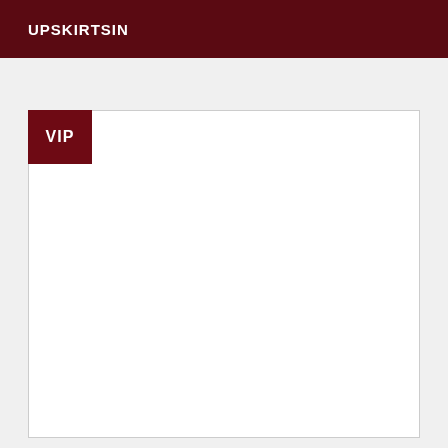UPSKIRTSIN
VIP
[Figure (other): Large white content area with VIP badge overlay in dark red at top-left corner]